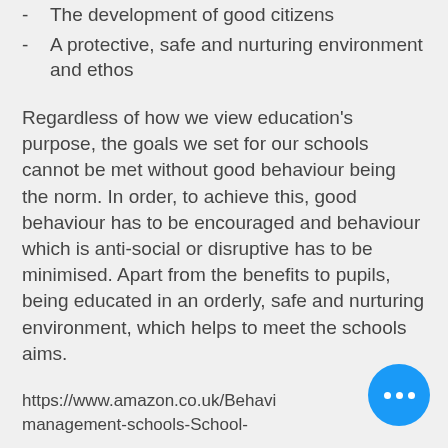- The development of good citizens
- A protective, safe and nurturing environment and ethos
Regardless of how we view education's purpose, the goals we set for our schools cannot be met without good behaviour being the norm. In order, to achieve this, good behaviour has to be encouraged and behaviour which is anti-social or disruptive has to be minimised. Apart from the benefits to pupils, being educated in an orderly, safe and nurturing environment, which helps to meet the schools aims.
https://www.amazon.co.uk/Behaviour-management-schools-School-